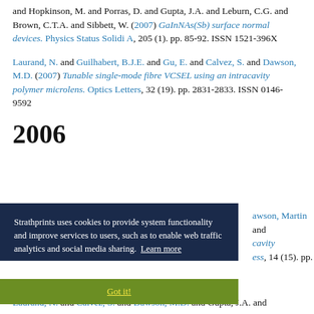and Hopkinson, M. and Porras, D. and Gupta, J.A. and Leburn, C.G. and Brown, C.T.A. and Sibbett, W. (2007) GaInNAs(Sb) surface normal devices. Physics Status Solidi A, 205 (1). pp. 85-92. ISSN 1521-396X
Laurand, N. and Guilhabert, B.J.E. and Gu, E. and Calvez, S. and Dawson, M.D. (2007) Tunable single-mode fibre VCSEL using an intracavity polymer microlens. Optics Letters, 32 (19). pp. 2831-2833. ISSN 0146-9592
2006
...Dawson, Martin and ... cavity ... ess, 14 (15). pp. ...
Laurand, N. and Calvez, S. and Dawson, M.D. and Gupta, J.A. and ...